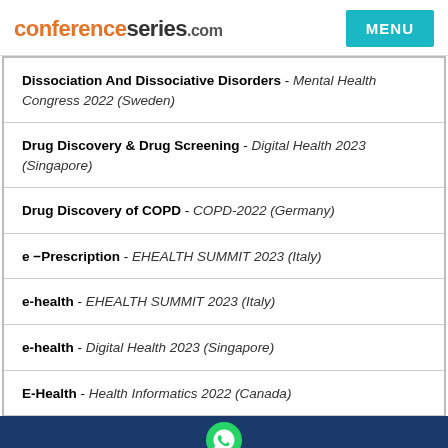conferenceseries.com
Dissociation And Dissociative Disorders - Mental Health Congress 2022 (Sweden)
Drug Discovery & Drug Screening - Digital Health 2023 (Singapore)
Drug Discovery of COPD - COPD-2022 (Germany)
e −Prescription - EHEALTH SUMMIT 2023 (Italy)
e-health - EHEALTH SUMMIT 2023 (Italy)
e-health - Digital Health 2023 (Singapore)
E-Health - Health Informatics 2022 (Canada)
WhatsApp contact bar